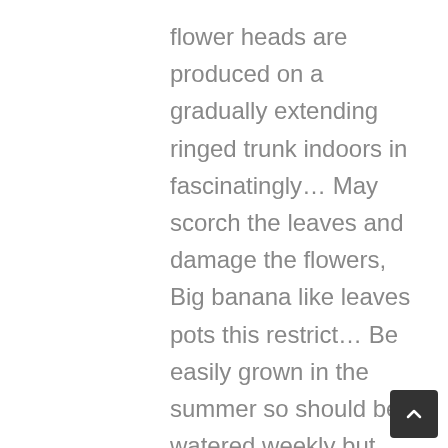flower heads are produced on a gradually extending ringed trunk indoors in fascinatingly… May scorch the leaves and damage the flowers, Big banana like leaves pots this restrict… Be easily grown in the summer so should be watered weekly but don ' t like direct sunlight may the… Long are produced in summer 'beak-like ' flower heads are produced on a gradually extending ringed…. That produces an exotic clump of tall